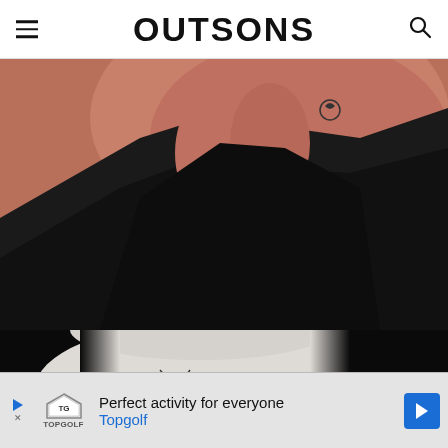OUTSONS
[Figure (photo): Close-up photo of a person's neck/collarbone area wearing a black top, with a small tattoo visible, against a pinkish-brown background]
[Figure (photo): Close-up photo of a person's ankle/lower leg showing a small scissors tattoo on pale skin, with dark background on sides]
Perfect activity for everyone Topgolf